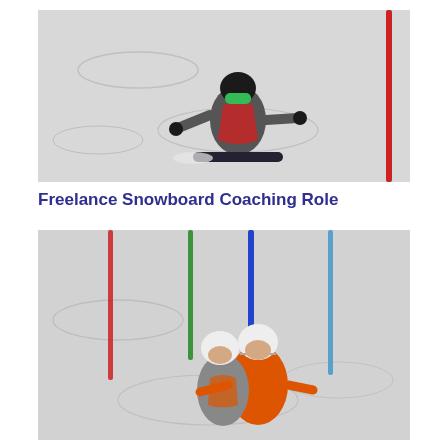[Figure (photo): A snowboarder wearing a black helmet with green goggles and a gray jacket with red accent, riding down a snowy slope. A red slalom pole is visible on the right side of the image.]
Freelance Snowboard Coaching Role
[Figure (photo): Two people wearing white helmets and orange jackets on a snowy ski slope with colorful slalom poles (red, green, blue) in the background. One person appears to be coaching or guiding the other.]